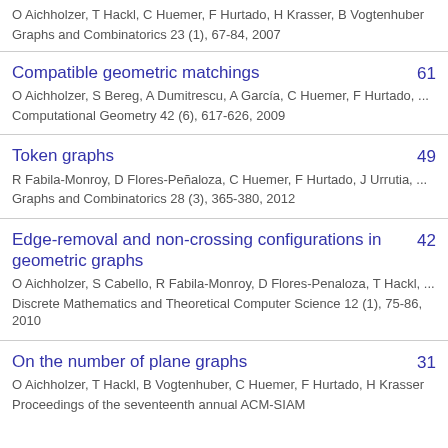O Aichholzer, T Hackl, C Huemer, F Hurtado, H Krasser, B Vogtenhuber
Graphs and Combinatorics 23 (1), 67-84, 2007
Compatible geometric matchings
O Aichholzer, S Bereg, A Dumitrescu, A García, C Huemer, F Hurtado, ...
Computational Geometry 42 (6), 617-626, 2009
61
Token graphs
R Fabila-Monroy, D Flores-Peñaloza, C Huemer, F Hurtado, J Urrutia, ...
Graphs and Combinatorics 28 (3), 365-380, 2012
49
Edge-removal and non-crossing configurations in geometric graphs
O Aichholzer, S Cabello, R Fabila-Monroy, D Flores-Penaloza, T Hackl, ...
Discrete Mathematics and Theoretical Computer Science 12 (1), 75-86, 2010
42
On the number of plane graphs
O Aichholzer, T Hackl, B Vogtenhuber, C Huemer, F Hurtado, H Krasser
Proceedings of the seventeenth annual ACM-SIAM
31